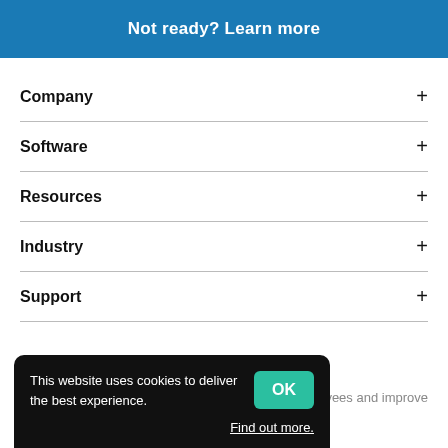Not ready? Learn more
Company +
Software +
Resources +
Industry +
Support +
This website uses cookies to deliver the best experience.
OK
Find out more.
h how to engage employees and improve